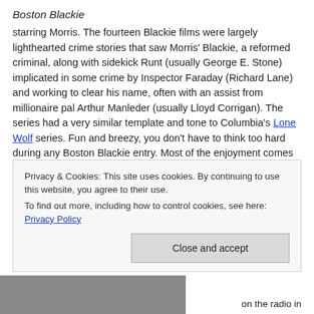Boston Blackie
starring Morris. The fourteen Blackie films were largely lighthearted crime stories that saw Morris' Blackie, a reformed criminal, along with sidekick Runt (usually George E. Stone) implicated in some crime by Inspector Faraday (Richard Lane) and working to clear his name, often with an assist from millionaire pal Arthur Manleder (usually Lloyd Corrigan). The series had a very similar template and tone to Columbia's Lone Wolf series. Fun and breezy, you don't have to think too hard during any Boston Blackie entry. Most of the enjoyment comes from the interaction of the likable recurring characters. Here's a brief look at Confessions of Boston Blackie (1941) from a past post.
Privacy & Cookies: This site uses cookies. By continuing to use this website, you agree to their use.
To find out more, including how to control cookies, see here: Privacy Policy
Close and accept
[Figure (photo): Partial photo visible at bottom left of page]
on the radio in